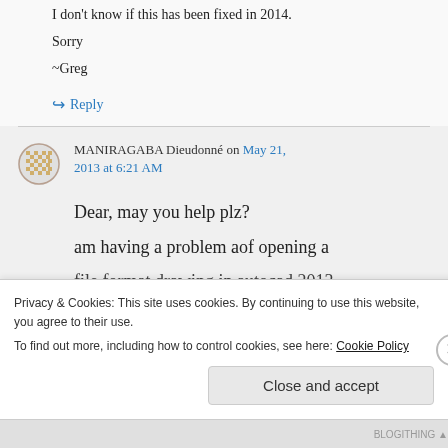I don't know if this has been fixed in 2014.
Sorry
~Greg
↪ Reply
MANIRAGABA Dieudonné on May 21, 2013 at 6:21 AM
Dear, may you help plz?
am having a problem aof opening a
file format drawing in autocad 2013
Privacy & Cookies: This site uses cookies. By continuing to use this website, you agree to their use.
To find out more, including how to control cookies, see here: Cookie Policy
Close and accept